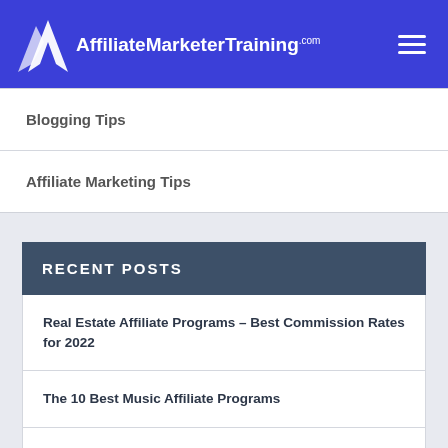AffiliateMarketerTraining.com
Blogging Tips
Affiliate Marketing Tips
RECENT POSTS
Real Estate Affiliate Programs – Best Commission Rates for 2022
The 10 Best Music Affiliate Programs
How to Find Low Competition Keywords (A Simple, Step-by-Step Guide)